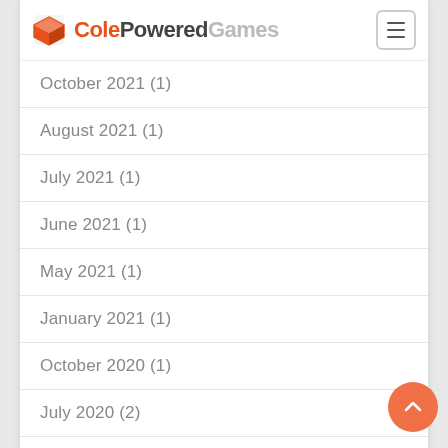ColePoweredGames
October 2021 (1)
August 2021 (1)
July 2021 (1)
June 2021 (1)
May 2021 (1)
January 2021 (1)
October 2020 (1)
July 2020 (2)
March 2020 (2)
January 2020 (1)